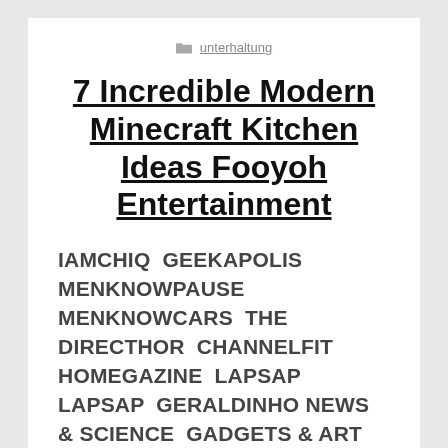unterhaltung
7 Incredible Modern Minecraft Kitchen Ideas Fooyoh Entertainment
IAMCHIQ  GEEKAPOLIS  MENKNOWPAUSE  MENKNOWCARS  THE DIRECTHOR  CHANNELFIT  HOMEGAZINE  LAPSAP LAPSAP  GERALDINHO NEWS & SCIENCE  GADGETS & ART CELEBRITIES  TRENDS SPORTS WOMEN'S FASHION MEN'S FASHION  LIFESTYLE MEN SEX & RELATIONSHIPS WEDDINGS